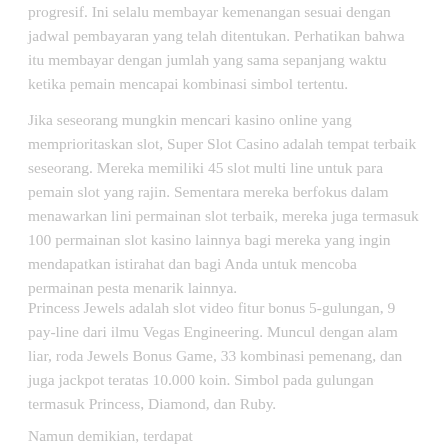progresif. Ini selalu membayar kemenangan sesuai dengan jadwal pembayaran yang telah ditentukan. Perhatikan bahwa itu membayar dengan jumlah yang sama sepanjang waktu ketika pemain mencapai kombinasi simbol tertentu.
Jika seseorang mungkin mencari kasino online yang memprioritaskan slot, Super Slot Casino adalah tempat terbaik seseorang. Mereka memiliki 45 slot multi line untuk para pemain slot yang rajin. Sementara mereka berfokus dalam menawarkan lini permainan slot terbaik, mereka juga termasuk 100 permainan slot kasino lainnya bagi mereka yang ingin mendapatkan istirahat dan bagi Anda untuk mencoba permainan pesta menarik lainnya.
Princess Jewels adalah slot video fitur bonus 5-gulungan, 9 pay-line dari ilmu Vegas Engineering. Muncul dengan alam liar, roda Jewels Bonus Game, 33 kombinasi pemenang, dan juga jackpot teratas 10.000 koin. Simbol pada gulungan termasuk Princess, Diamond, dan Ruby.
Namun demikian, terdapat...